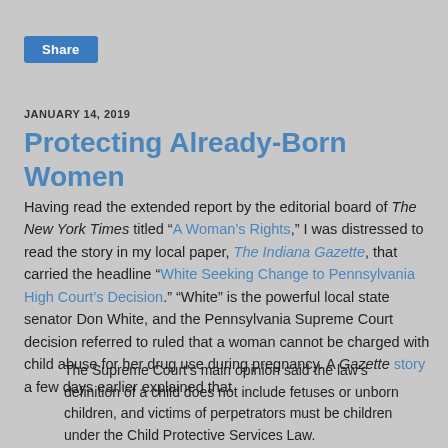[Figure (other): Share button — blue rectangular button with white 'Share' text]
JANUARY 14, 2019
Protecting Already-Born Women
Having read the extended report by the editorial board of The New York Times titled “A Woman’s Rights,” I was distressed to read the story in my local paper, The Indiana Gazette, that carried the headline “White Seeking Change to Pennsylvania High Court’s Decision.” “White” is the powerful local state senator Don White, and the Pennsylvania Supreme Court decision referred to ruled that a woman cannot be charged with child abuse for her drug use during pregnancy. A Gazette story a few days earlier explained that
The Supreme Court’s main opinion said the law’s definition of a child does not include fetuses or unborn children, and victims of perpetrators must be children under the Child Protective Services Law.